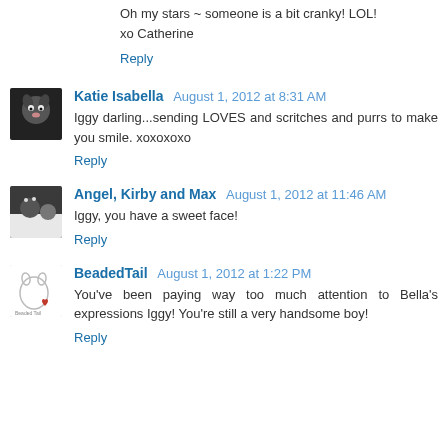Oh my stars ~ someone is a bit cranky! LOL!
xo Catherine
Reply
Katie Isabella  August 1, 2012 at 8:31 AM
Iggy darling...sending LOVES and scritches and purrs to make you smile. xoxoxoxo
Reply
Angel, Kirby and Max  August 1, 2012 at 11:46 AM
Iggy, you have a sweet face!
Reply
BeadedTail  August 1, 2012 at 1:22 PM
You've been paying way too much attention to Bella's expressions Iggy! You're still a very handsome boy!
Reply